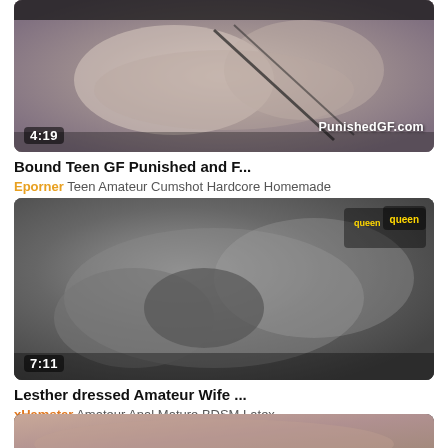[Figure (screenshot): Video thumbnail for 'Bound Teen GF Punished' with duration 4:19 and watermark PunishedGF.com]
Bound Teen GF Punished and F...
Eporner Teen Amateur Cumshot Hardcore Homemade
[Figure (screenshot): Video thumbnail showing leather/BDSM scene with duration 7:11 and queen logo watermark]
Lesther dressed Amateur Wife ...
xHamster Amateur Anal Mature BDSM Latex
[Figure (screenshot): Partial video thumbnail at bottom of page]